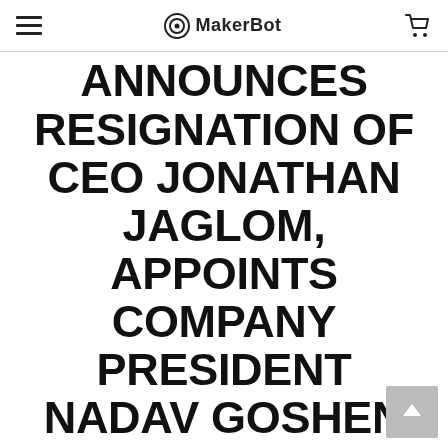MakerBot
MAKERBOT ANNOUNCES RESIGNATION OF CEO JONATHAN JAGLOM, APPOINTS COMPANY PRESIDENT NADAV GOSHEN AS SUCCESSOR